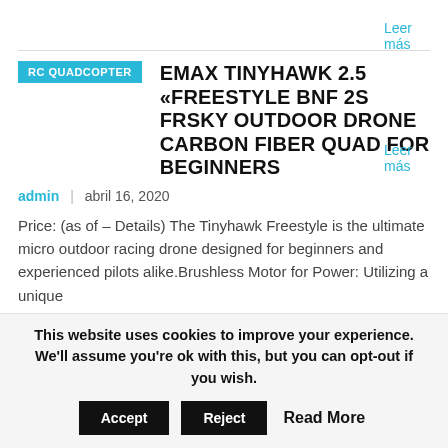Leer más
RC QUADCOPTER
EMAX TINYHAWK 2.5 «FREESTYLE BNF 2S FRSKY OUTDOOR DRONE CARBON FIBER QUAD FOR BEGINNERS
admin  |  abril 16, 2020
Price: (as of – Details) The Tinyhawk Freestyle is the ultimate micro outdoor racing drone designed for beginners and experienced pilots alike.Brushless Motor for Power: Utilizing a unique
Leer más
This website uses cookies to improve your experience. We'll assume you're ok with this, but you can opt-out if you wish.
Accept  Reject  Read More